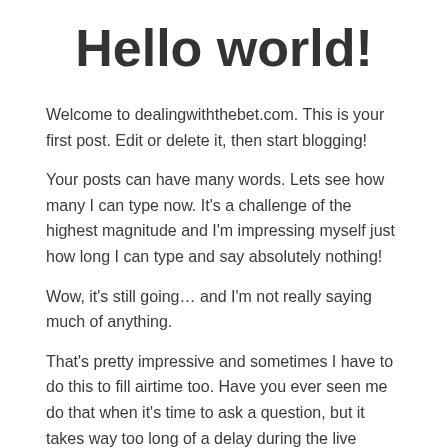Hello world!
Welcome to dealingwiththebet.com. This is your first post. Edit or delete it, then start blogging!
Your posts can have many words. Lets see how many I can type now. It’s a challenge of the highest magnitude and I’m impressing myself just how long I can type and say absolutely nothing!
Wow, it’s still going… and I’m not really saying much of anything.
That’s pretty impressive and sometimes I have to do this to fill airtime too. Have you ever seen me do that when it’s time to ask a question, but it takes way too long of a delay during the live training? It’s annoying and I wish it was instantaneous.